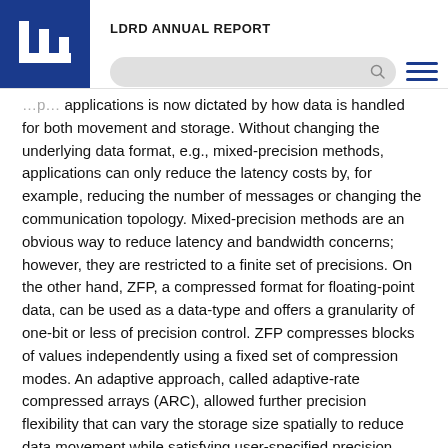LDRD ANNUAL REPORT
applications is now dictated by how data is handled for both movement and storage. Without changing the underlying data format, e.g., mixed-precision methods, applications can only reduce the latency costs by, for example, reducing the number of messages or changing the communication topology. Mixed-precision methods are an obvious way to reduce latency and bandwidth concerns; however, they are restricted to a finite set of precisions. On the other hand, ZFP, a compressed format for floating-point data, can be used as a data-type and offers a granularity of one-bit or less of precision control. ZFP compresses blocks of values independently using a fixed set of compression modes. An adaptive approach, called adaptive-rate compressed arrays (ARC), allowed further precision flexibility that can vary the storage size spatially to reduce data movement while satisfying user-specified precision requirements. In this project, we generalized ARC further by creating a rate-distortion optimization mode for ARC that optimizes the